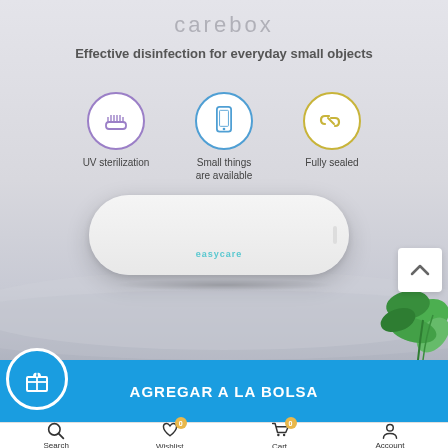[Figure (screenshot): E-commerce product page screenshot showing carebox UV sterilization device with tagline 'Effective disinfection for everyday small objects', three feature icons (UV sterilization, Small things are available, Fully sealed), product image of white oval device with 'easycare' branding, plant decoration, scroll up button, 'AGREGAR A LA BOLSA' add to bag button with gift icon, and bottom navigation bar with Search, Wishlist (0), Cart (0), Account icons.]